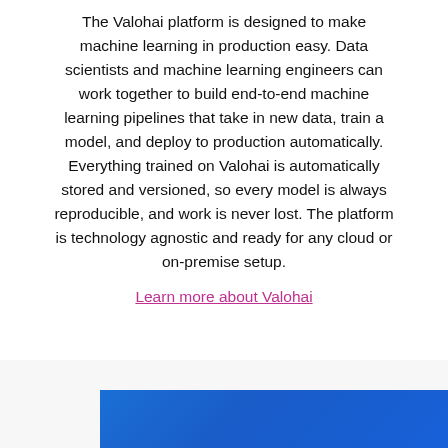The Valohai platform is designed to make machine learning in production easy. Data scientists and machine learning engineers can work together to build end-to-end machine learning pipelines that take in new data, train a model, and deploy to production automatically. Everything trained on Valohai is automatically stored and versioned, so every model is always reproducible, and work is never lost. The platform is technology agnostic and ready for any cloud or on-premise setup.
Learn more about Valohai